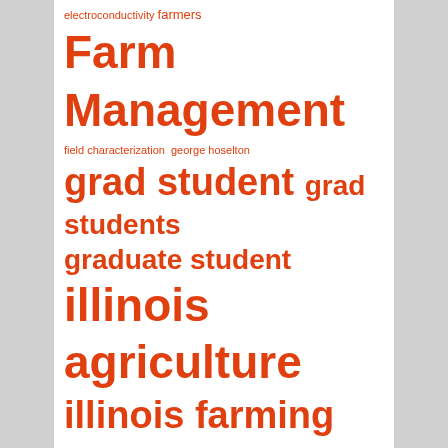[Figure (infographic): Tag cloud of agricultural and academic terms in varying font sizes, all in orange/red color on white background. Terms include: electroconductivity, farmers, Farm Management, field characterization, george hoselton, grad student, grad students, graduate student, illinois agriculture, illinois farming, illinois farm management, illinois state university, international, laila puntel, maria boerngen, monica balzarini, new fields, nitrogen, nutrient loss, on-farm experimentation, precision agriculture, precision agriculture technology]